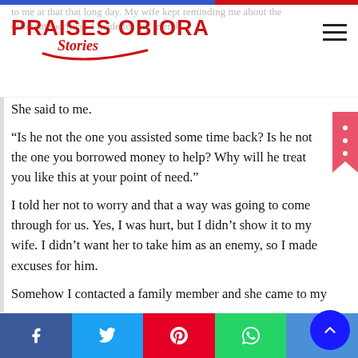PRAISES OBIORA Stories
me about the different sacrifices I made for my friend.
She said to me.
“Is he not the one you assisted some time back? Is he not the one you borrowed money to help? Why will he treat you like this at your point of need.”
I told her not to worry and that a way was going to come through for us. Yes, I was hurt, but I didn’t show it to my wife. I didn’t want her to take him as an enemy, so I made excuses for him.
Somehow I contacted a family member and she came to my assistance.
Years passed and my friend and I never saw again.
Months back I heard my friend was involved in a ghastly motor accident. His wife packed out of the